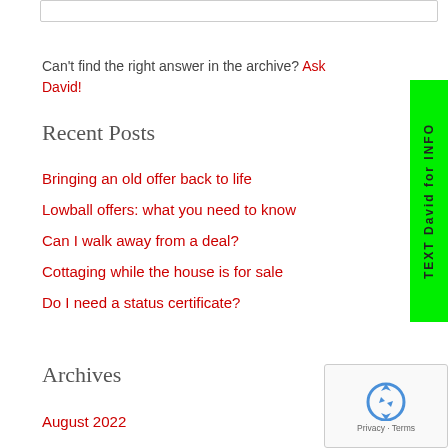Can't find the right answer in the archive? Ask David!
Recent Posts
Bringing an old offer back to life
Lowball offers: what you need to know
Can I walk away from a deal?
Cottaging while the house is for sale
Do I need a status certificate?
Archives
August 2022